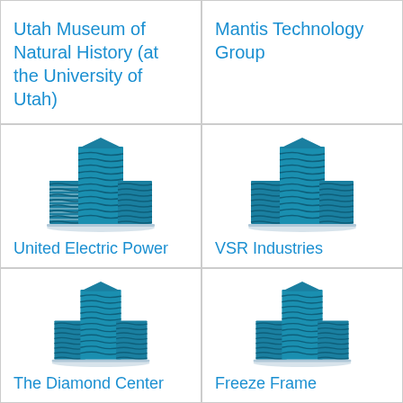Utah Museum of Natural History (at the University of Utah)
Mantis Technology Group
[Figure (logo): Building/skyscraper icon in teal/blue]
United Electric Power
[Figure (logo): Building/skyscraper icon in teal/blue]
VSR Industries
[Figure (logo): Building/skyscraper icon in teal/blue]
The Diamond Center
[Figure (logo): Building/skyscraper icon in teal/blue]
Freeze Frame